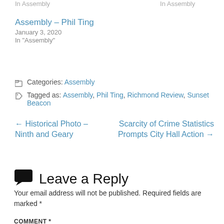In  Assembly   In  Assembly
Assembly – Phil Ting
January 3, 2020
In "Assembly"
Categories: Assembly
Tagged as: Assembly, Phil Ting, Richmond Review, Sunset Beacon
← Historical Photo – Ninth and Geary
Scarcity of Crime Statistics Prompts City Hall Action →
Leave a Reply
Your email address will not be published. Required fields are marked *
COMMENT *